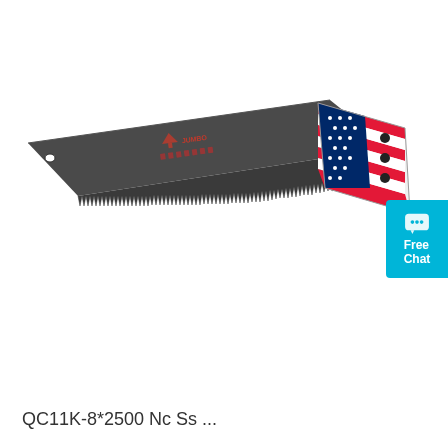[Figure (photo): Product photo of a hand saw with a dark grey blade featuring fine teeth along the bottom edge, printed branding/icons on the blade, and a USA-flag-themed handle in red, white, and blue colors with three bolt holes. The saw is oriented diagonally with the tip at the upper left and the handle at the lower right.]
[Figure (infographic): Cyan/turquoise 'Free Chat' badge with a speech bubble icon in the top-right corner of the page.]
QC11K-8*2500 Nc Ss ...